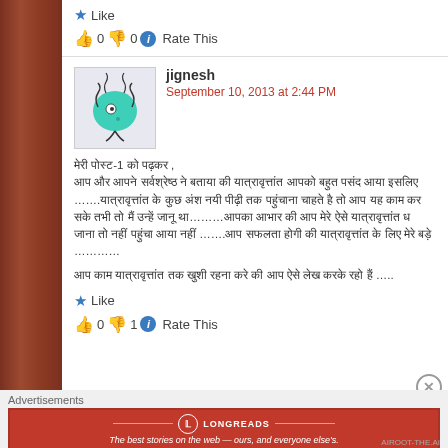Like
👍 0 👎 0 ℹ Rate This
jignesh
September 10, 2013 at 2:44 PM
[Figure (illustration): Cartoon avatar of a teal amoeba-like creature with legs]
Hindi comment text (multiple lines in Devanagari script)
Like
👍 0 👎 1 ℹ Rate This
Advertisements
[Figure (infographic): Longreads advertisement banner: red background with logo and tagline 'The best stories on the web — ours, and everyone else's.']